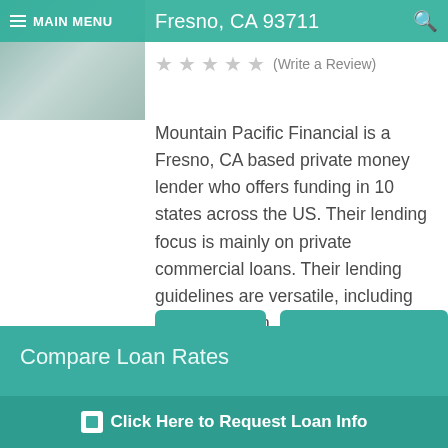MAIN MENU
Fresno, CA 93711
(Write a Review)
Mountain Pacific Financial is a Fresno, CA based private money lender who offers funding in 10 states across the US. Their lending focus is mainly on private commercial loans. Their lending guidelines are versatile, including terms between ...
SEE DETAILS
COMPARE LOAN RATES
Compare Loan Rates
First N
Click Here to Request Loan Info